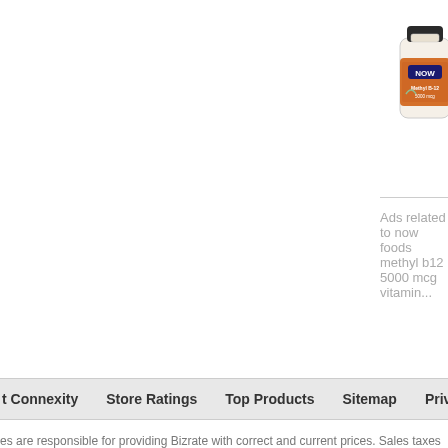[Figure (photo): NOW Foods Methyl B-12 supplement bottle, orange label]
Methyl B-12 5000 mcg, 120 L
NOW Foods Methyl B-12 5000 mcg ... Cognitive Function. With Folic Acid. ... water soluble vitamin necessary for the system and for the ... more
Product Info ▾
Ads related to now foods methyl b12 5000 mcg vitamin
t Connexity   Store Ratings   Top Products   Sitemap   Privacy Policy   User Agreement
es are responsible for providing Bizrate with correct and current prices. Sales taxes a... ned from merchants or third parties. Although we make every effort to present accura... epancies by clicking here.
e ratings and product reviews are submitted by online shoppers; they do not reflect ou
22 Connexity, Inc. / Bizrate is a division of Connexity, Inc.